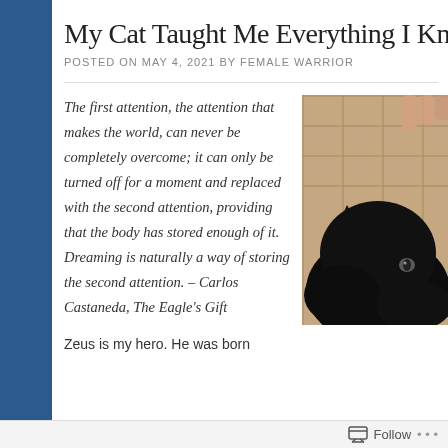My Cat Taught Me Everything I Kno…
POSTED ON MAY 4, 2021 BY FEMALE WARRIOR
The first attention, the attention that makes the world, can never be completely overcome; it can only be turned off for a moment and replaced with the second attention, providing that the body has stored enough of it. Dreaming is naturally a way of storing the second attention. – Carlos Castaneda, The Eagle's Gift
[Figure (photo): Close-up photo of a black cat partially visible above a tiled surface, showing one ear and one eye]
Zeus is my hero. He was born
Follow